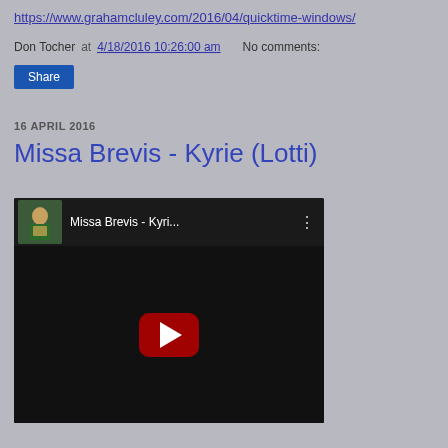https://www.grahamcluley.com/2016/04/quicktime-windows/
Don Tocher at 4/18/2016 10:26:00 am   No comments:
Share
16 APRIL 2016
Missa Brevis - Kyrie (Lotti)
[Figure (screenshot): YouTube video embed showing 'Missa Brevis - Kyri...' with a choir singing in a church, dark background, red YouTube play button in the center.]